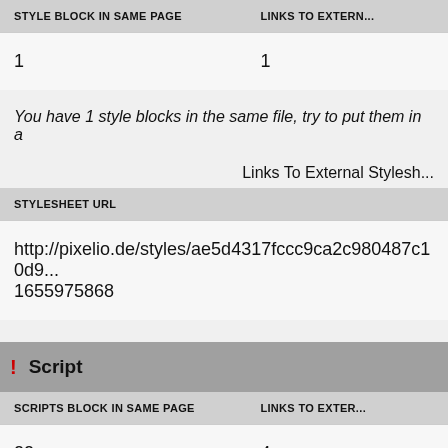| STYLE BLOCK IN SAME PAGE | LINKS TO EXTERN... |
| --- | --- |
| 1 | 1 |
You have 1 style blocks in the same file, try to put them in a...
Links To External Stylesh...
| STYLESHEET URL |
| --- |
| http://pixelio.de/styles/ae5d4317fccc9ca2c980487c10d9... 1655975868 |
| Script | SCRIPTS BLOCK IN SAME PAGE | LINKS TO EXTER... |
| --- | --- | --- |
| 22 | 4 |